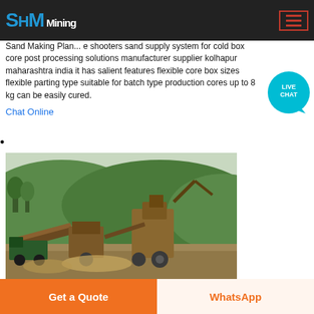Sand Making Plant Maharashtra
Sand Making Plant... e shooters sand supply system for cold box core post processing solutions manufacturer supplier kolhapur maharashtra india it has salient features flexible core box sizes flexible parting type suitable for batch type production cores up to 8 kg can be easily cured.
Chat Online
[Figure (photo): Outdoor mining/quarrying equipment setup — conveyor belts and crushers at a site with green hills and trees in the background]
Raymer Engineering Corporation Mumbai
Manufacturer of Resin Manufacturing Plant Ball Mill Sand Mill offered
Get a Quote
WhatsApp